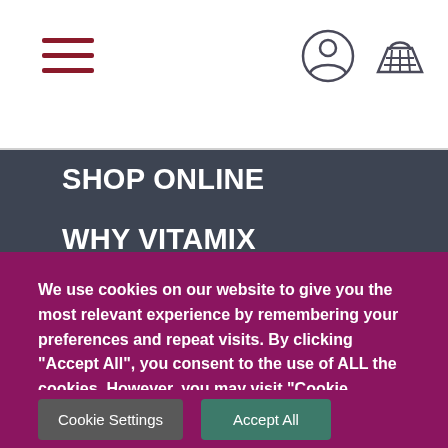[Figure (screenshot): Website header with hamburger menu icon (three dark red lines) on left, and user account and shopping basket icons on the right, on a white background.]
SHOP ONLINE
WHY VITAMIX
RECIPES
FIND A STOCKIST
CUSTOMER SERVICE
We use cookies on our website to give you the most relevant experience by remembering your preferences and repeat visits. By clicking “Accept All”, you consent to the use of ALL the cookies. However, you may visit “Cookie Settings” to provide a controlled consent.
Cookie Settings
Accept All